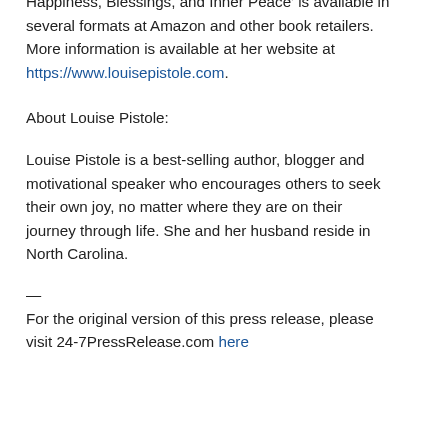pistole9@gmail.com. 'Discover Your Joy: Daily Splashes of Inspiration for Living an Abundant Life of Happiness, Blessings, and Inner Peace' is available in several formats at Amazon and other book retailers. More information is available at her website at https://www.louisepistole.com.
About Louise Pistole:
Louise Pistole is a best-selling author, blogger and motivational speaker who encourages others to seek their own joy, no matter where they are on their journey through life. She and her husband reside in North Carolina.
—
For the original version of this press release, please visit 24-7PressRelease.com here